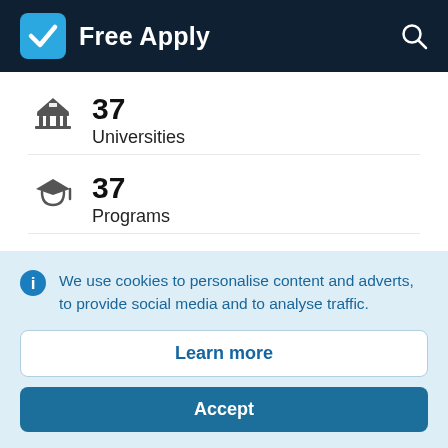Free Apply
37
Universities
37
Programs
2–4
We use cookies to personalise content and adverts, to provide social media and to analyse traffic.
Learn more
Accept